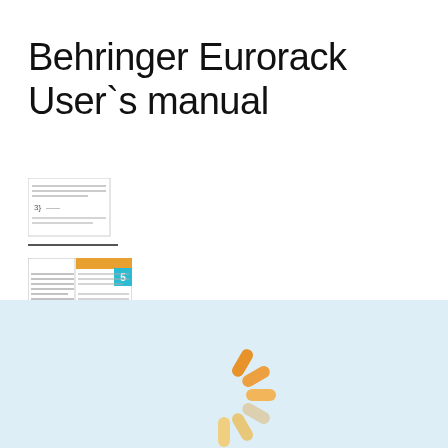Behringer Eurorack User`s manual
[Figure (screenshot): Small thumbnail of a document page showing lines of text and a horizontal rule at the bottom]
[Figure (screenshot): Small thumbnail of a multi-column document page with an orange header bar, cyan badge with number 5]
[Figure (illustration): Light blue background panel with an orange loading spinner / activity indicator centered within it]